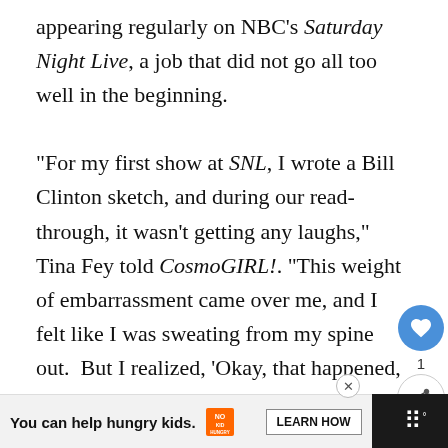appearing regularly on NBC's Saturday Night Live, a job that did not go all too well in the beginning.

“For my first show at SNL, I wrote a Bill Clinton sketch, and during our read-through, it wasn’t getting any laughs,” Tina Fey told CosmoGIRL!. “This weight of embarrassment came over me, and I felt like I was sweating from my spine out. But I realized, ‘Okay, that happened, and I did not die.’ You’ve got to experience failure to understand that you can survive it.”
[Figure (other): Social interaction buttons: a blue circular heart/like button, a count of 1, and a share button with a share icon]
[Figure (other): Advertisement banner: orange No Kid Hungry ad with text 'You can help hungry kids.' and a 'LEARN HOW' button, with a dark right panel showing a menu icon]